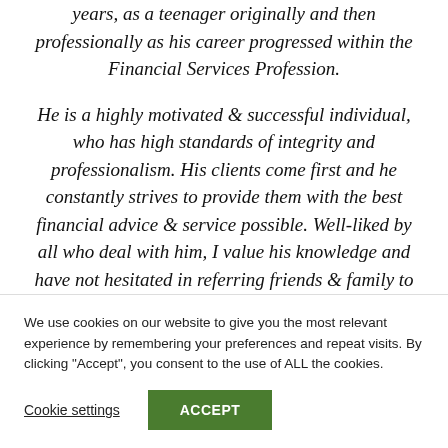years, as a teenager originally and then professionally as his career progressed within the Financial Services Profession. He is a highly motivated & successful individual, who has high standards of integrity and professionalism. His clients come first and he constantly strives to provide them with the best financial advice & service possible. Well-liked by all who deal with him, I value his knowledge and have not hesitated in referring friends & family to
We use cookies on our website to give you the most relevant experience by remembering your preferences and repeat visits. By clicking "Accept", you consent to the use of ALL the cookies.
Cookie settings
ACCEPT